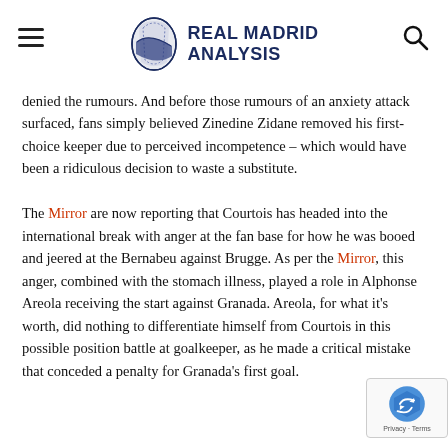Real Madrid Analysis
denied the rumours. And before those rumours of an anxiety attack surfaced, fans simply believed Zinedine Zidane removed his first-choice keeper due to perceived incompetence – which would have been a ridiculous decision to waste a substitute.

The Mirror are now reporting that Courtois has headed into the international break with anger at the fan base for how he was booed and jeered at the Bernabeu against Brugge. As per the Mirror, this anger, combined with the stomach illness, played a role in Alphonse Areola receiving the start against Granada. Areola, for what it's worth, did nothing to differentiate himself from Courtois in this possible position battle at goalkeeper, as he made a critical mistake that conceded a penalty for Granada's first goal.